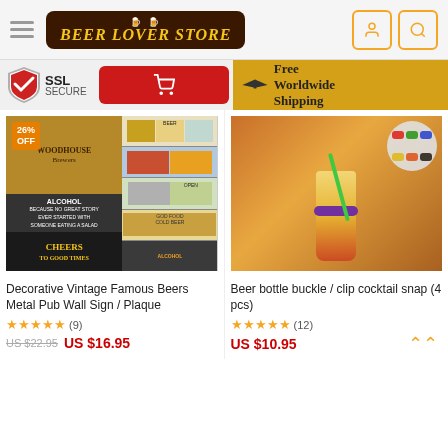Beer Lover Store
[Figure (screenshot): SSL Secure badge, red cart button, Free Worldwide Shipping banner]
[Figure (photo): Product image: Decorative Vintage Famous Beers Metal Pub Wall Sign / Plaque collage]
Decorative Vintage Famous Beers Metal Pub Wall Sign / Plaque
★★★★★ (9)
US $22.95  US $16.95
[Figure (photo): Beer bottle buckle / clip cocktail snap (4 pcs) product photo]
Beer bottle buckle / clip cocktail snap (4 pcs)
★★★★★ (12)
US $10.95